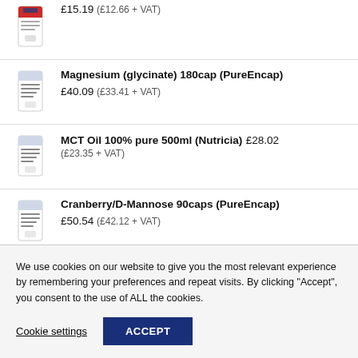£15.19 (£12.66 + VAT)
Magnesium (glycinate) 180cap (PureEncap) £40.09 (£33.41 + VAT)
MCT Oil 100% pure 500ml (Nutricia) £28.02 (£23.35 + VAT)
Cranberry/D-Mannose 90caps (PureEncap) £50.54 (£42.12 + VAT)
We use cookies on our website to give you the most relevant experience by remembering your preferences and repeat visits. By clicking "Accept", you consent to the use of ALL the cookies.
Cookie settings  ACCEPT